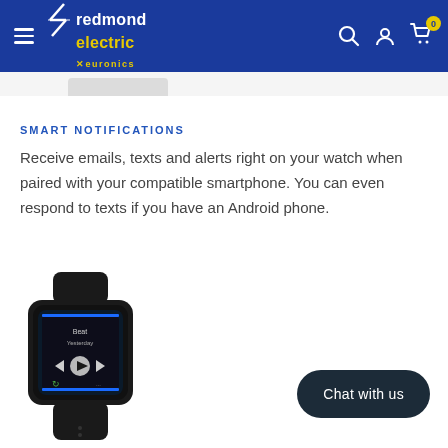Redmond Electric - Euronics
[Figure (photo): Partial view of a Garmin smartwatch from above, cropped at top of content area]
SMART NOTIFICATIONS
Receive emails, texts and alerts right on your watch when paired with your compatible smartphone. You can even respond to texts if you have an Android phone.
[Figure (photo): Garmin Venu Sq smartwatch in black showing music player interface on screen with play/pause controls]
Chat with us